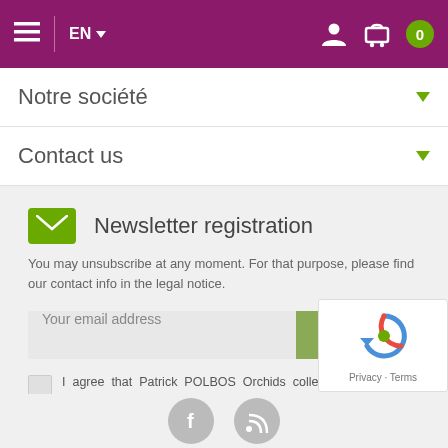EN | Navigation bar with hamburger menu, language selector, user icon, cart icon, badge 0
Notre société
Contact us
Newsletter registration
You may unsubscribe at any moment. For that purpose, please find our contact info in the legal notice.
Your email address | Registration
I agree that Patrick POLBOS Orchids collects and uses the personal data entered in this form for the purpose of sending Newsletter, in accordance with our Personal Data Protection Policy.
[Figure (logo): reCAPTCHA widget with Privacy and Terms links]
[Figure (illustration): Social media icons: Facebook and RSS feed circles]